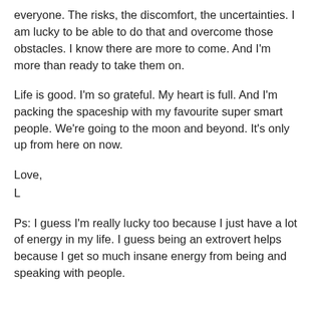everyone. The risks, the discomfort, the uncertainties. I am lucky to be able to do that and overcome those obstacles. I know there are more to come. And I'm more than ready to take them on.
Life is good. I'm so grateful. My heart is full. And I'm packing the spaceship with my favourite super smart people. We're going to the moon and beyond. It's only up from here on now.
Love,
L
Ps: I guess I'm really lucky too because I just have a lot of energy in my life. I guess being an extrovert helps because I get so much insane energy from being and speaking with people.